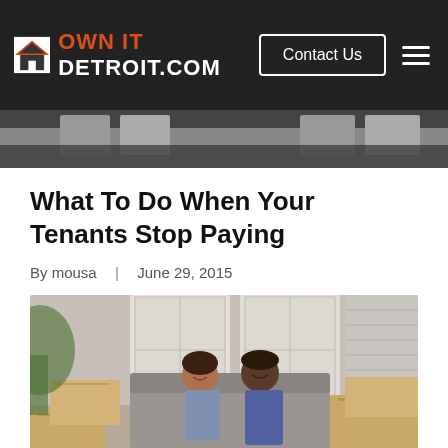OWN IT DETROIT.COM | Contact Us
What To Do When Your Tenants Stop Paying
By mousa  |  June 29, 2015
[Figure (photo): A couple sitting on a couch surrounded by moving boxes, smiling and talking to each other in a bright apartment.]